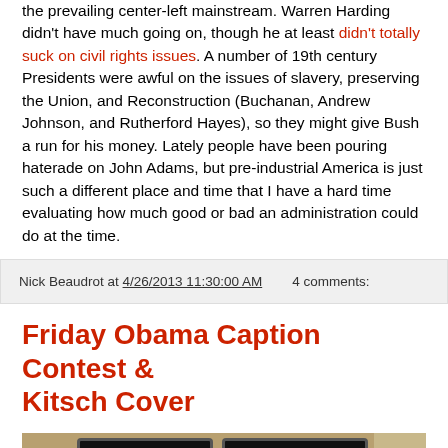the prevailing center-left mainstream. Warren Harding didn't have much going on, though he at least didn't totally suck on civil rights issues. A number of 19th century Presidents were awful on the issues of slavery, preserving the Union, and Reconstruction (Buchanan, Andrew Johnson, and Rutherford Hayes), so they might give Bush a run for his money. Lately people have been pouring haterade on John Adams, but pre-industrial America is just such a different place and time that I have a hard time evaluating how much good or bad an administration could do at the time.
Nick Beaudrot at 4/26/2013 11:30:00 AM   4 comments:
Friday Obama Caption Contest & Kitsch Cover
[Figure (photo): Photo showing people viewed from behind looking at multiple TV/monitor screens mounted on a wall with a wooden panel on the right side with red LED indicators.]